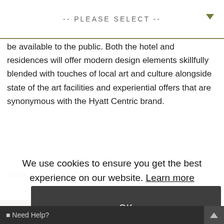-- PLEASE SELECT --
be available to the public. Both the hotel and residences will offer modern design elements skillfully blended with touches of local art and culture alongside state of the art facilities and experiential offers that are synonymous with the Hyatt Centric brand.
Share
Other Press Releases
We use cookies to ensure you get the best experience on our website. Learn more
OK
JODC Shareholders Approve Landmark Alinma Fund Debt to Equity Transaction, Set to Issue 225 Million New Shares in
Need Help?